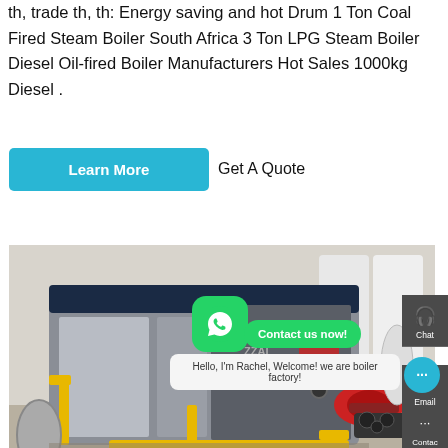th, trade th, th: Energy saving and hot Drum 1 Ton Coal Fired Steam Boiler South Africa 3 Ton LPG Steam Boiler Diesel Oil-fired Boiler Manufacturers Hot Sales 1000kg Diesel .
[Figure (photo): Industrial diesel oil-fired steam boiler with red burner and yellow pipe fittings in a factory setting]
Learn More
Get A Quote
Stoker Boiler Manufacturers Suppliers Of Stoker Boiler
manufactur... leading manufacturers of stoker boilers around th...
Panjiva uses over 30 international data sources to help you...
Hello, I'm Rachel, Welcome! we are boiler factory!